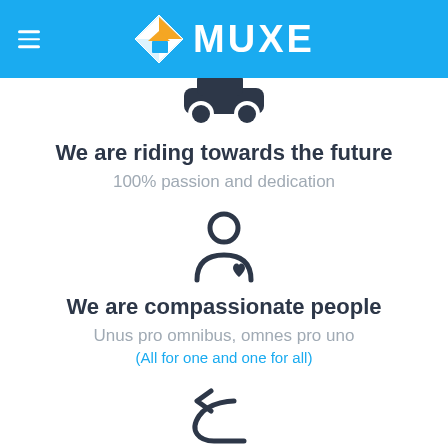[Figure (logo): MUXE logo with diamond/house icon in orange and white, text MUXE in white on blue header bar, hamburger menu icon on left]
[Figure (illustration): Car/vehicle icon in dark navy, partially cropped at top]
We are riding towards the future
100% passion and dedication
[Figure (illustration): Person/user icon with a heart, dark navy color]
We are compassionate people
Unus pro omnibus, omnes pro uno
(All for one and one for all)
[Figure (illustration): Undo/return arrow icon in dark navy]